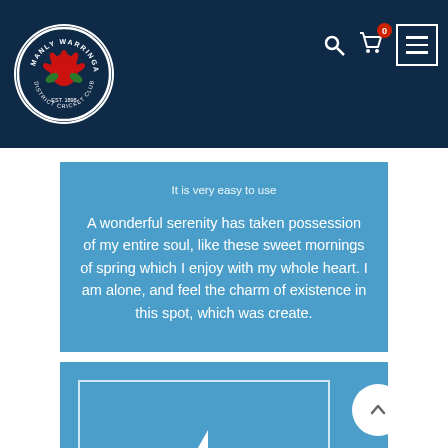[Figure (logo): Manly Warringah District Cricket Club circular logo with red waratah flower on white background]
It is very easy to use
A wonderful serenity has taken possession of my entire soul, like these sweet mornings of spring which I enjoy with my whole heart. I am alone, and feel the charm of existence in this spot, which was create.
[Figure (illustration): Blue card with inner border outline and a lightning bolt icon at the bottom center, with a white circular scroll-to-top button on the right]